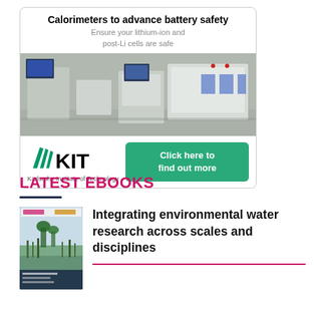[Figure (photo): Advertisement for KIT (Karlsruhe Institute of Technology) calorimeters for battery safety, showing laboratory equipment photos, KIT logo, and a green 'Click here to find out more' button]
LATEST EBOOKS
[Figure (photo): Thumbnail cover of an ebook about integrating environmental water research, showing a nature/wetland scene]
Integrating environmental water research across scales and disciplines